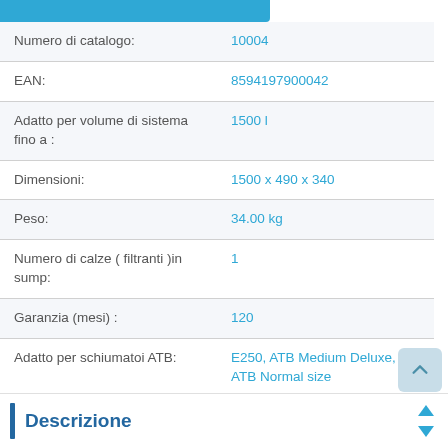| Proprietà | Valore |
| --- | --- |
| Numero di catalogo: | 10004 |
| EAN: | 8594197900042 |
| Adatto per volume di sistema fino a : | 1500 l |
| Dimensioni: | 1500 x 490 x 340 |
| Peso: | 34.00 kg |
| Numero di calze ( filtranti )in sump: | 1 |
| Garanzia (mesi) : | 120 |
| Adatto per schiumatoi ATB: | E250, ATB Medium Deluxe, ATB Normal size |
Descrizione